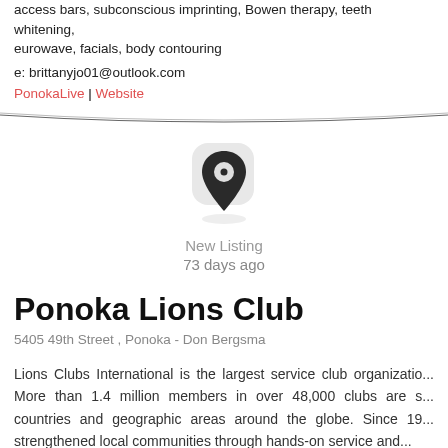access bars, subconscious imprinting, Bowen therapy, teeth whitening, eurowave, facials, body contouring
e: brittanyjo01@outlook.com
PonokaLive | Website
[Figure (illustration): Location pin icon (dark map marker with white circle detail, on a light gray rounded background)]
New Listing
73 days ago
Ponoka Lions Club
5405 49th Street , Ponoka - Don Bergsma
Lions Clubs International is the largest service club organization. More than 1.4 million members in over 48,000 clubs are s... countries and geographic areas around the globe. Since 19... strengthened local communities through hands-on service and...